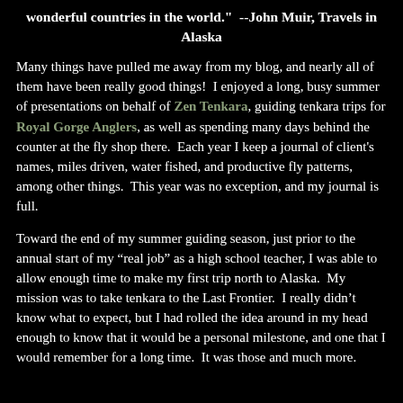wonderful countries in the world." --John Muir, Travels in Alaska
Many things have pulled me away from my blog, and nearly all of them have been really good things!  I enjoyed a long, busy summer of presentations on behalf of Zen Tenkara, guiding tenkara trips for Royal Gorge Anglers, as well as spending many days behind the counter at the fly shop there.  Each year I keep a journal of client's names, miles driven, water fished, and productive fly patterns, among other things.  This year was no exception, and my journal is full.
Toward the end of my summer guiding season, just prior to the annual start of my “real job” as a high school teacher, I was able to allow enough time to make my first trip north to Alaska.  My mission was to take tenkara to the Last Frontier.  I really didn’t know what to expect, but I had rolled the idea around in my head enough to know that it would be a personal milestone, and one that I would remember for a long time.  It was those and much more.